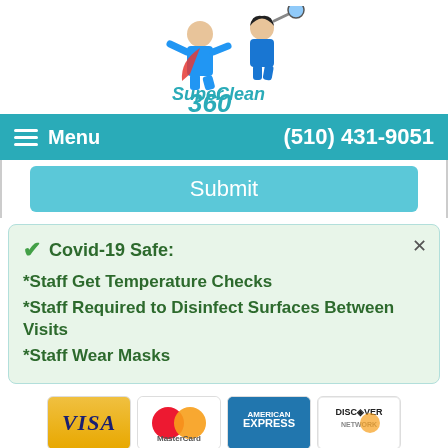[Figure (logo): Super Clean 360 logo with two superhero characters holding cleaning tools]
Menu   (510) 431-9051
Submit
Covid-19 Safe:
*Staff Get Temperature Checks
*Staff Required to Disinfect Surfaces Between Visits
*Staff Wear Masks
[Figure (illustration): Payment card logos: VISA, MasterCard, American Express, Discover Network]